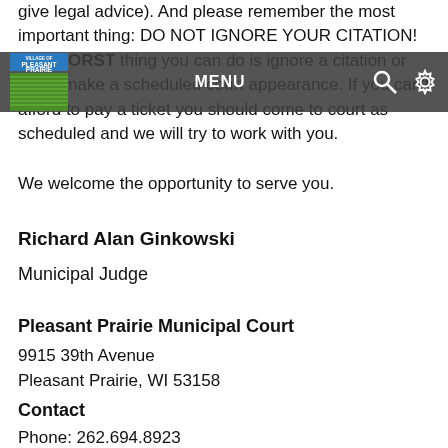give legal advice). And please remember the most important thing: DO NOT IGNORE YOUR CITATION! The WORST thing you can do is ignore a citation or fail to make a scheduled court appearance. If you can't afford to pay a ticket you should come to court as scheduled and we will try to work with you.
We welcome the opportunity to serve you.
Richard Alan Ginkowski
Municipal Judge
Pleasant Prairie Municipal Court
9915 39th Avenue
Pleasant Prairie, WI 53158
Contact
Phone: 262.694.8923
Fax: 262.694.1401